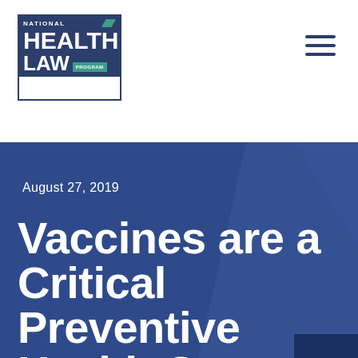[Figure (logo): National Health Law Program logo — dark blue box with 'NATIONAL' at top, large 'HEALTH' and 'LAW' text, teal 'PROGRAM' badge]
August 27, 2019
Vaccines are a Critical Preventive Health Care